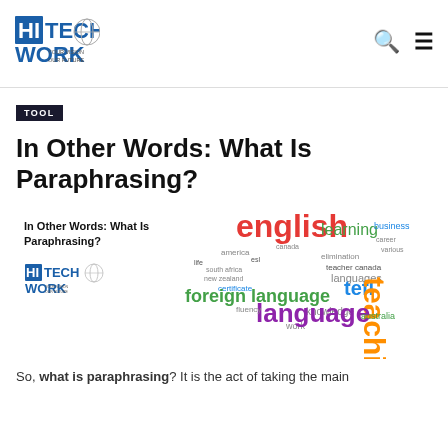HiTech Work — YOUR VISION OUR FUTURE
TOOL
In Other Words: What Is Paraphrasing?
[Figure (illustration): Article preview card showing article title 'In Other Words: What Is Paraphrasing?' with HiTech Work logo on left, and a colorful word cloud on the right featuring words like 'english', 'language', 'foreign language', 'teaching', 'learning', 'tefl', etc.]
So, what is paraphrasing? It is the act of taking the main